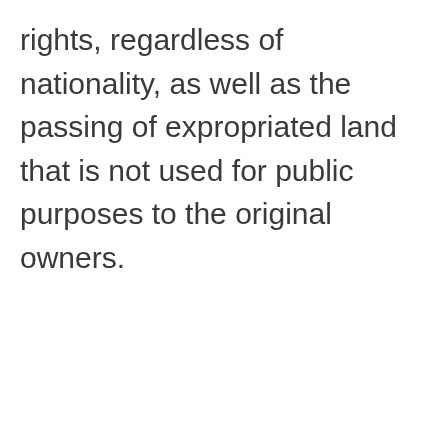rights, regardless of nationality, as well as the passing of expropriated land that is not used for public purposes to the original owners.